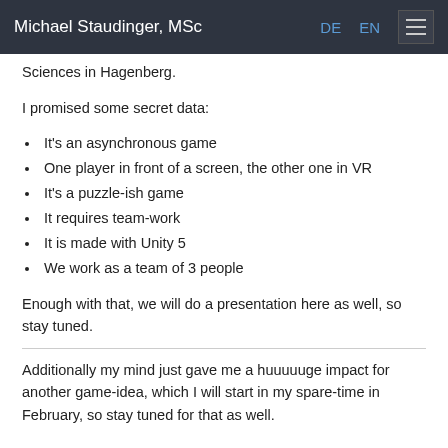Michael Staudinger, MSc  DE  EN
Sciences in Hagenberg.
I promised some secret data:
It's an asynchronous game
One player in front of a screen, the other one in VR
It's a puzzle-ish game
It requires team-work
It is made with Unity 5
We work as a team of 3 people
Enough with that, we will do a presentation here as well, so stay tuned.
Additionally my mind just gave me a huuuuuge impact for another game-idea, which I will start in my spare-time in February, so stay tuned for that as well.